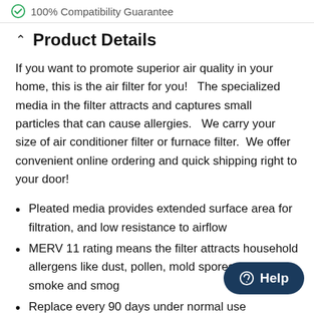100% Compatibility Guarantee
Product Details
If you want to promote superior air quality in your home, this is the air filter for you!   The specialized media in the filter attracts and captures small particles that can cause allergies.   We carry your size of air conditioner filter or furnace filter.  We offer convenient online ordering and quick shipping right to your door!
Pleated media provides extended surface area for filtration, and low resistance to airflow
MERV 11 rating means the filter attracts household allergens like dust, pollen, mold spores, dander, smoke and smog
Replace every 90 days under normal use
Made with pride in the USA